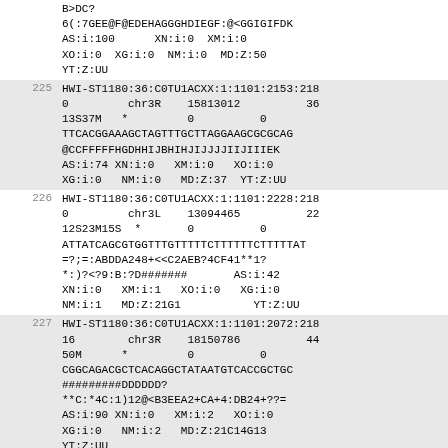B>DC?
6(:7GEE@F@EDEHAGGGHDIEGF:@<GGIGIFDK
AS:i:100    XN:i:0  XM:i:0
XO:i:0  XG:i:0  NM:i:0  MD:Z:50
YT:Z:UU
225  HWI-ST1180:36:C0TU1ACXX:1:1101:2153:218
0       chr3R   15813012        36
13S37M  *       0       0
TTCACGGAAAGCTAGTTTGCTTAGGAAGCGCGCAG
@CCFFFFFHGDHHIJBHIHJIJJJJIIJIIIEK
AS:i:74 XN:i:0  XM:i:0  XO:i:0
XG:i:0  NM:i:0  MD:Z:37 YT:Z:UU
226  HWI-ST1180:36:C0TU1ACXX:1:1101:2228:218
0       chr3L   13094465        22
12S23M15S  *    0       0
ATTATCAGCGTGGTTTGTTTTCTTTTTCTTTTTAT
=?;=:ABDDA248+<<C2AEB?4CF41**1?
*:)?<?9:B:?D######    AS:i:42
XN:i:0  XM:i:1  XO:i:0  XG:i:0
NM:i:1  MD:Z:21G1       YT:Z:UU
227  HWI-ST1180:36:C0TU1ACXX:1:1101:2072:218
16      chr3R   18150786        44
50M     *       0       0
CGGCAGACGCTCACAGGCTATAATGTCACCGCTGC
#########DDDDDD?
**C:*4C:1)12@<B3EEA2+CA+4:DB24+??=
AS:i:90 XN:i:0  XM:i:2  XO:i:0
XG:i:0  NM:i:2  MD:Z:21C14G13
YT:Z:UU